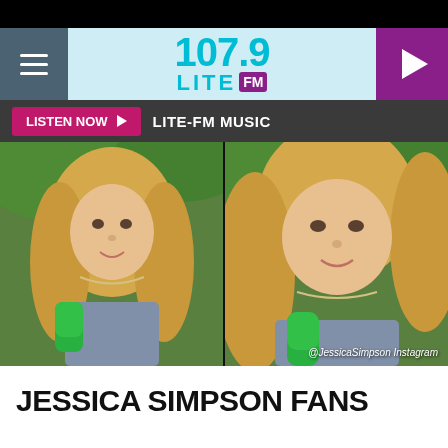[Figure (screenshot): 107.9 LITE FM radio station website header with hamburger menu, teal logo, and purple play button]
LISTEN NOW  LITE-FM MUSIC
[Figure (photo): Two side-by-side video stills of a blonde woman (Jessica Simpson) holding a green microphone outdoors with green foliage background. Watermark reads @JessicaSimpson Instagram]
JESSICA SIMPSON FANS